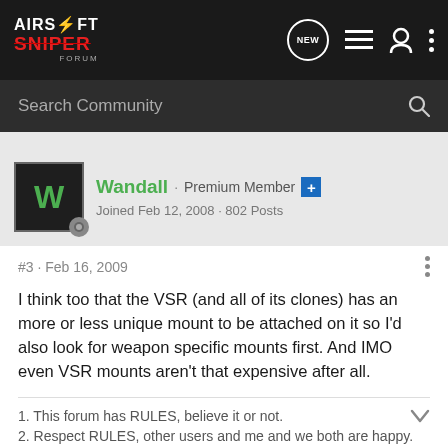[Figure (logo): Airsoft Sniper Forum logo in top navigation bar]
Search Community
Wandall · Premium Member +
Joined Feb 12, 2008 · 802 Posts
#3 · Feb 16, 2009
I think too that the VSR (and all of its clones) has an more or less unique mount to be attached on it so I'd also look for weapon specific mounts first. And IMO even VSR mounts aren't that expensive after all.
1. This forum has RULES, believe it or not.
2. Respect RULES, other users and me and we both are happy.